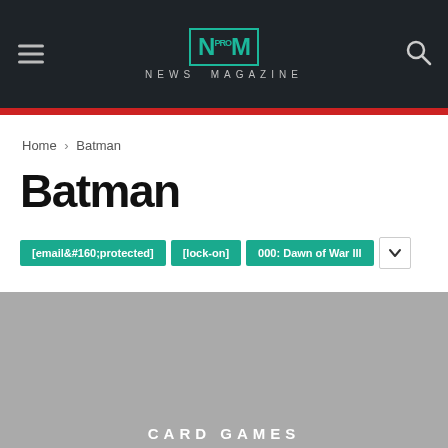NM PRO NEWS MAGAZINE
Home › Batman
Batman
[email&160;protected] [lock-on] 000: Dawn of War III
[Figure (photo): Gray placeholder image area with CARD GAMES text at bottom]